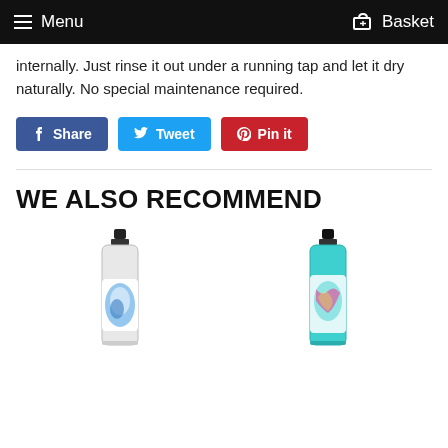Menu   Basket
internally. Just rinse it out under a running tap and let it dry naturally. No special maintenance required.
[Figure (screenshot): Social sharing buttons: Facebook Share, Twitter Tweet, Pinterest Pin it]
WE ALSO RECOMMEND
[Figure (photo): Spray bottle product with blue/white label]
[Figure (photo): Spray bottle product with teal/aqua liquid and colorful label]